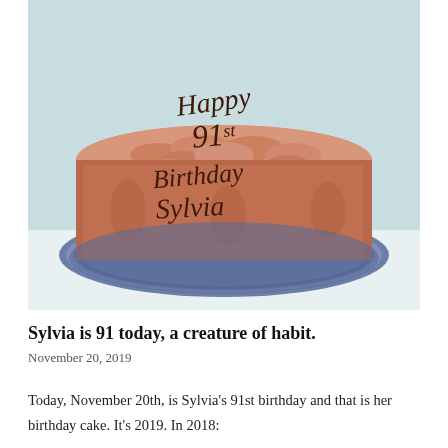[Figure (photo): A round birthday cake with pink/salmon-colored frosting on a decorative plate, with chocolate script writing reading 'Happy 91st Birthday Sylvia']
Sylvia is 91 today, a creature of habit.
November 20, 2019
Today, November 20th, is Sylvia's 91st birthday and that is her birthday cake. It's 2019. In 2018: